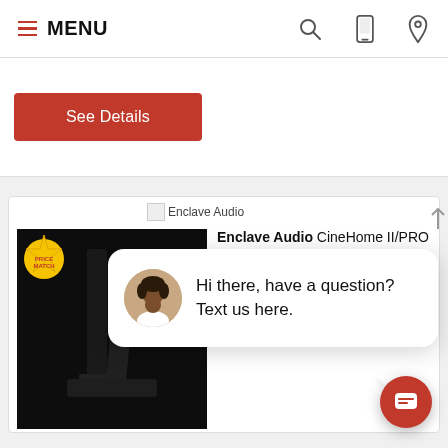MENU
See Details
[Figure (screenshot): Product listing for Enclave Audio CineHome II/PRO Table stands (Set of two), Model# EATBL010, with a black product image on dark background, and a Price Match badge]
Enclave Audio CineHome II/PRO Table stands (Set of two) Model# EATBL010 Color close
Hi there, have a question? Text us here.